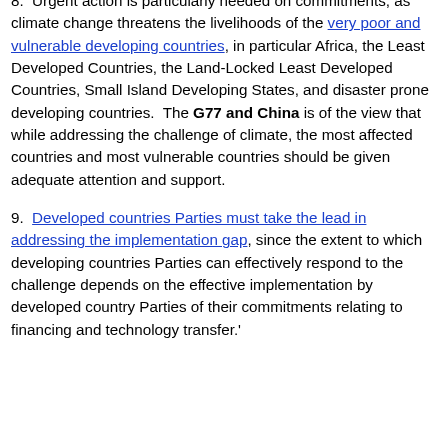8.  Urgent action is particularly needed on commitments, as climate change threatens the livelihoods of the very poor and vulnerable developing countries, in particular Africa, the Least Developed Countries, the Land-Locked Least Developed Countries, Small Island Developing States, and disaster prone developing countries.  The G77 and China is of the view that while addressing the challenge of climate, the most affected countries and most vulnerable countries should be given adequate attention and support.
9.  Developed countries Parties must take the lead in addressing the implementation gap, since the extent to which developing countries Parties can effectively respond to the challenge depends on the effective implementation by developed country Parties of their commitments relating to financing and technology transfer.'